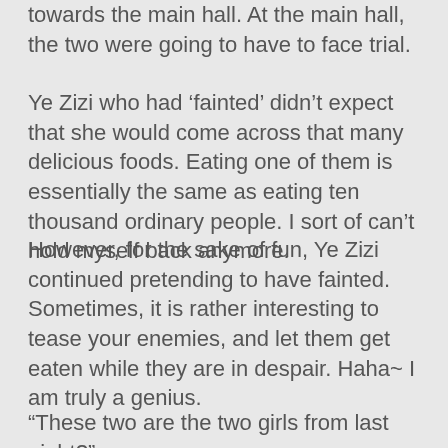towards the main hall. At the main hall, the two were going to have to face trial.
Ye Zizi who had 'fainted' didn't expect that she would come across that many delicious foods. Eating one of them is essentially the same as eating ten thousand ordinary people. I sort of can't hold myself back anymore.
However, for the sake of fun, Ye Zizi continued pretending to have fainted. Sometimes, it is rather interesting to tease your enemies, and let them get eaten while they are in despair. Haha~ I am truly a genius.
“These two are the two girls from last night?”